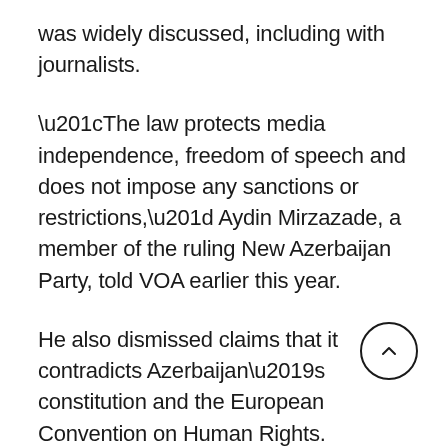was widely discussed, including with journalists.
“The law protects media independence, freedom of speech and does not impose any sanctions or restrictions,” Aydin Mirzazade, a member of the ruling New Azerbaijan Party, told VOA earlier this year.
He also dismissed claims that it contradicts Azerbaijan’s constitution and the European Convention on Human Rights.
The law adds to an already restrictive environment. Azerbaijan has a poor press